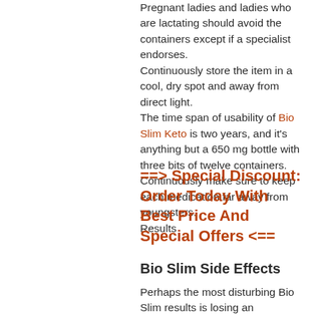Pregnant ladies and ladies who are lactating should avoid the containers except if a specialist endorses.
Continuously store the item in a cool, dry spot and away from direct light.
The time span of usability of Bio Slim Keto is two years, and it's anything but a 650 mg bottle with three bits of twelve containers.
Continuously make sure to keep each medication far away from youngsters.
Results
==> Special Discount: Order Today With Best Price And Special Offers <==
Bio Slim Side Effects
Perhaps the most disturbing Bio Slim results is losing an excessive amount of weight.
From some Bio Slim surveys, a few customers guarantee to have lost substantially more than they expected to lose.
A portion of these were from the Bio Slim top